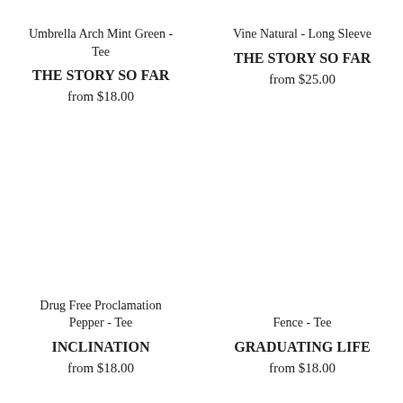Umbrella Arch Mint Green - Tee
THE STORY SO FAR
from $18.00
Vine Natural - Long Sleeve
THE STORY SO FAR
from $25.00
Drug Free Proclamation Pepper - Tee
INCLINATION
from $18.00
Fence - Tee
GRADUATING LIFE
from $18.00